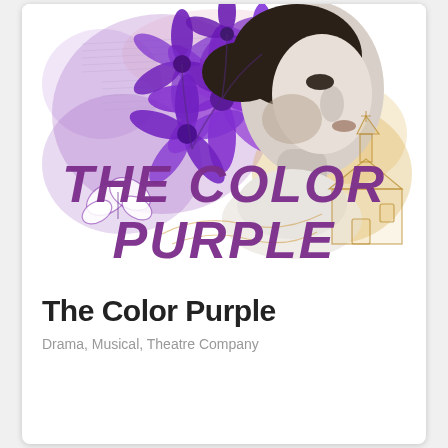[Figure (illustration): Theatrical poster artwork for 'The Color Purple' showing a Black woman in profile with large purple flowers in her hair, purple watercolor splash background, music sheet lines, butterflies, and golden sketch of a church building. Bold italic purple text reads 'THE COLOR PURPLE' overlaid on the lower portion of the artwork.]
The Color Purple
Drama, Musical, Theatre Company